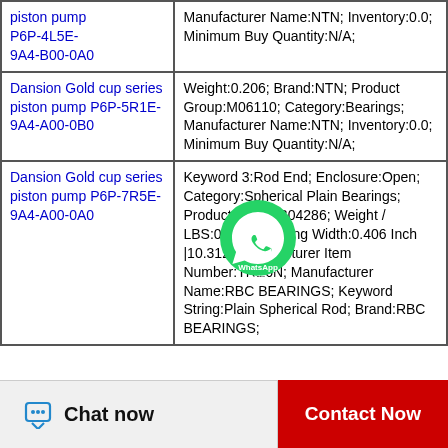| Product | Details |
| --- | --- |
| piston pump P6P-4L5E-9A4-B00-0A0 | Manufacturer Name:NTN; Inventory:0.0; Minimum Buy Quantity:N/A; |
| Dansion Gold cup series piston pump P6P-5R1E-9A4-A00-0B0 | Weight:0.206; Brand:NTN; Product Group:M06110; Category:Bearings; Manufacturer Name:NTN; Inventory:0.0; Minimum Buy Quantity:N/A; |
| Dansion Gold cup series piston pump P6P-7R5E-9A4-A00-0A0 | Keyword 3:Rod End; Enclosure:Open; Category:Spherical Plain Bearings; Product Group:B04286; Weight / LBS:0.212; Housing Width:0.406 Inch |10.312; Manufacturer Item Number:TRE6N; Manufacturer Name:RBC BEARINGS; Keyword String:Plain Spherical Rod; Brand:RBC BEARINGS; |
[Figure (other): WhatsApp contact button overlay icon]
Chat now | Contact Now